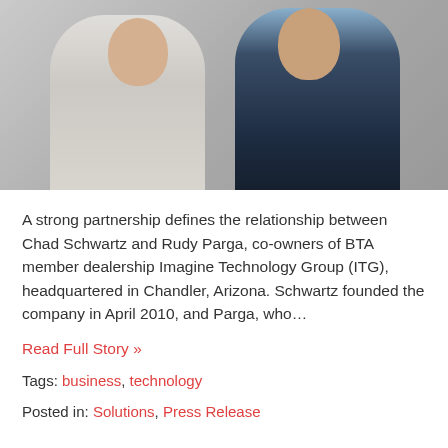[Figure (photo): Two men in business attire standing together against a gray background. Left person wears a light gray suit, right person wears a dark navy suit with light blue shirt.]
A strong partnership defines the relationship between Chad Schwartz and Rudy Parga, co-owners of BTA member dealership Imagine Technology Group (ITG), headquartered in Chandler, Arizona. Schwartz founded the company in April 2010, and Parga, who…
Read Full Story »
Tags: business, technology
Posted in: Solutions, Press Release